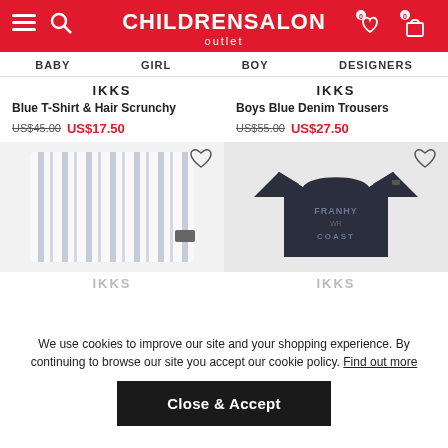CHILDRENSALON outlet
BABY   GIRL   BOY   DESIGNERS
IKKS
Blue T-Shirt & Hair Scrunchy
US$45.00  US$17.50
IKKS
Boys Blue Denim Trousers
US$55.00  US$27.50
[Figure (photo): White and blue striped children's pants/trousers laid flat]
[Figure (photo): Dark navy blue children's t-shirt with FRANCHY COAST surf graphic print]
IKKS
IKKS
We use cookies to improve our site and your shopping experience. By continuing to browse our site you accept our cookie policy. Find out more
Close & Accept